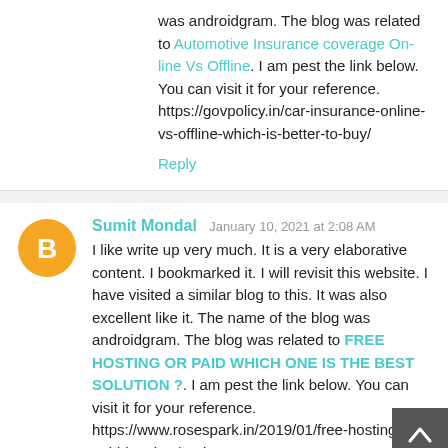was androidgram. The blog was related to Automotive Insurance coverage On-line Vs Offline. I am pest the link below. You can visit it for your reference. https://govpolicy.in/car-insurance-online-vs-offline-which-is-better-to-buy/
Reply
Sumit Mondal  January 10, 2021 at 2:08 AM
I like write up very much. It is a very elaborative content. I bookmarked it. I will revisit this website. I have visited a similar blog to this. It was also excellent like it. The name of the blog was androidgram. The blog was related to FREE HOSTING OR PAID WHICH ONE IS THE BEST SOLUTION ?. I am pest the link below. You can visit it for your reference. https://www.rosespark.in/2019/01/free-hosting-or-paid-hosting.html